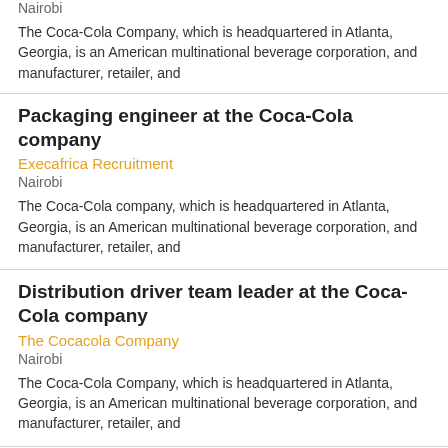Nairobi
The Coca-Cola Company, which is headquartered in Atlanta, Georgia, is an American multinational beverage corporation, and manufacturer, retailer, and
Packaging engineer at the Coca-Cola company
Execafrica Recruitment
Nairobi
The Coca-Cola company, which is headquartered in Atlanta, Georgia, is an American multinational beverage corporation, and manufacturer, retailer, and
Distribution driver team leader at the Coca-Cola company
The Cocacola Company
Nairobi
The Coca-Cola Company, which is headquartered in Atlanta, Georgia, is an American multinational beverage corporation, and manufacturer, retailer, and
Distribution driver team leader at the Coca-Cola company
International Justice Mission IJM
Nairobi